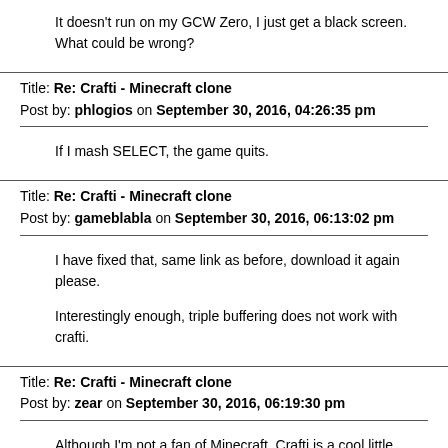It doesn't run on my GCW Zero, I just get a black screen. What could be wrong?
Title: Re: Crafti - Minecraft clone
Post by: phlogios on September 30, 2016, 04:26:35 pm
If I mash SELECT, the game quits.
Title: Re: Crafti - Minecraft clone
Post by: gameblabla on September 30, 2016, 06:13:02 pm
I have fixed that, same link as before, download it again please.
Interestingly enough, triple buffering does not work with crafti.
Title: Re: Crafti - Minecraft clone
Post by: zear on September 30, 2016, 06:19:30 pm
Although I'm not a fan of Minecraft, Crafti is a cool little game and an interesting engine. Thanks for porting it!
Title: Re: Crafti - Minecraft clone
Post by: gameblabla on September 30, 2016, 07:42:45 pm